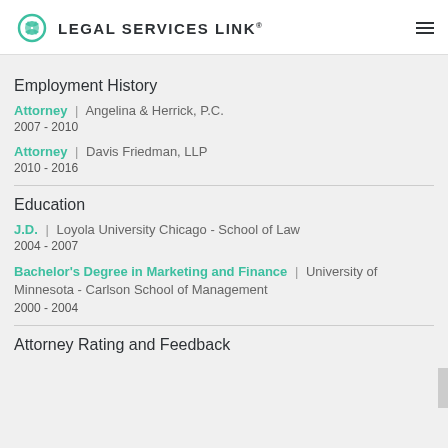LEGAL SERVICES LINK®
Employment History
Attorney | Angelina & Herrick, P.C.
2007 - 2010
Attorney | Davis Friedman, LLP
2010 - 2016
Education
J.D. | Loyola University Chicago - School of Law
2004 - 2007
Bachelor's Degree in Marketing and Finance | University of Minnesota - Carlson School of Management
2000 - 2004
Attorney Rating and Feedback